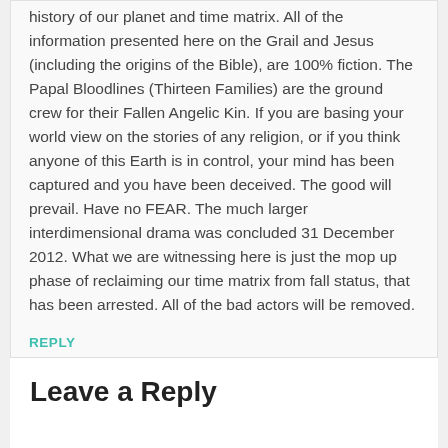history of our planet and time matrix. All of the information presented here on the Grail and Jesus (including the origins of the Bible), are 100% fiction. The Papal Bloodlines (Thirteen Families) are the ground crew for their Fallen Angelic Kin. If you are basing your world view on the stories of any religion, or if you think anyone of this Earth is in control, your mind has been captured and you have been deceived. The good will prevail. Have no FEAR. The much larger interdimensional drama was concluded 31 December 2012. What we are witnessing here is just the mop up phase of reclaiming our time matrix from fall status, that has been arrested. All of the bad actors will be removed.
REPLY
Leave a Reply